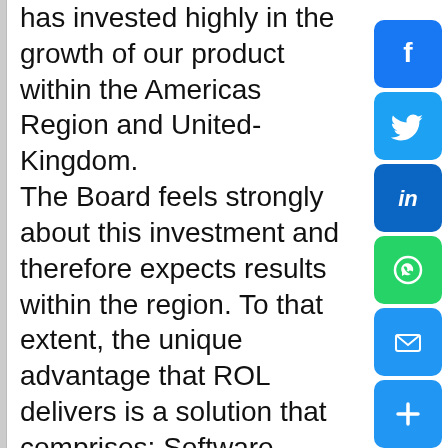has invested highly in the growth of our product within the Americas Region and United-Kingdom. The Board feels strongly about this investment and therefore expects results within the region. To that extent, the unique advantage that ROL delivers is a solution that comprises: Software, Regulatory Content, and Consulting from one source. No other vendor presents a Global Solution or Offering like ROL. Therefore, this is an important role within ROL. it requires the candidate to be responsible for one-third of our offering, specifically the development, integration, and delivery of the highest quality of content in the Americas and United-Kingdom.